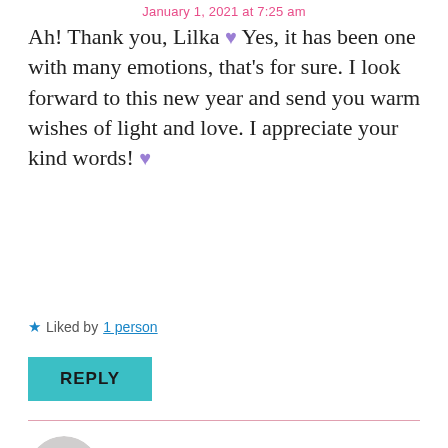January 1, 2021 at 7:25 am
Ah! Thank you, Lilka 💜 Yes, it has been one with many emotions, that's for sure. I look forward to this new year and send you warm wishes of light and love. I appreciate your kind words! 💜
★ Liked by 1 person
REPLY
SUE DREAMWALKER